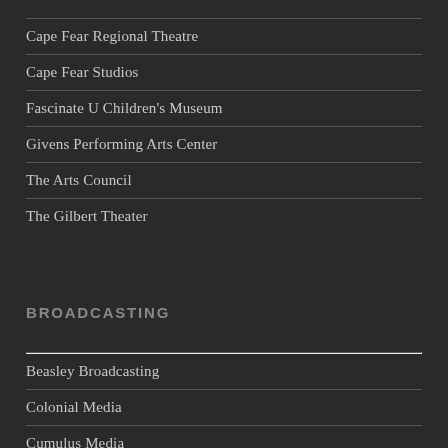Cape Fear Regional Theatre
Cape Fear Studios
Fascinate U Children's Museum
Givens Performing Arts Center
The Arts Council
The Gilbert Theater
BROADCASTING
Beasley Broadcasting
Colonial Media
Cumulus Media
Garner/White Video Productions
WRAL-TV5
WTVD-11